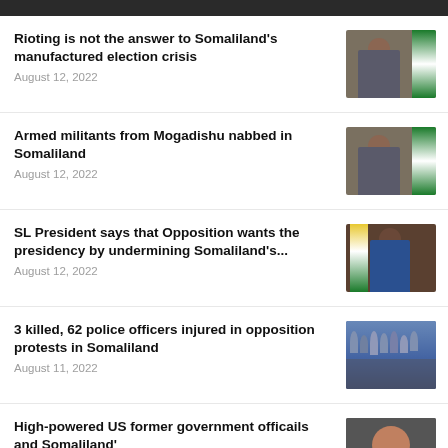Rioting is not the answer to Somaliland's manufactured election crisis
August 12, 2022
Armed militants from Mogadishu nabbed in Somaliland
August 12, 2022
SL President says that Opposition wants the presidency by undermining Somaliland's...
August 12, 2022
3 killed, 62 police officers injured in opposition protests in Somaliland
August 11, 2022
High-powered US former government officails and Somaliland'